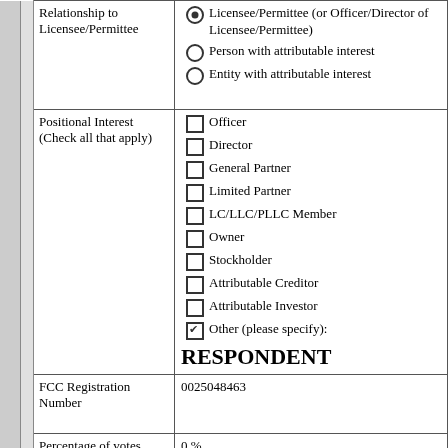| Field | Value |
| --- | --- |
| Relationship to Licensee/Permittee | ● Licensee/Permittee (or Officer/Director of Licensee/Permittee)
○ Person with attributable interest
○ Entity with attributable interest |
| Positional Interest (Check all that apply) | ☐ Officer
☐ Director
☐ General Partner
☐ Limited Partner
☐ LC/LLC/PLLC Member
☐ Owner
☐ Stockholder
☐ Attributable Creditor
☐ Attributable Investor
☑ Other (please specify): RESPONDENT |
| FCC Registration Number | 0025048463 |
| Percentage of votes | 0 % |
| Percentage of total assets (equity debt plus) | 0 % |